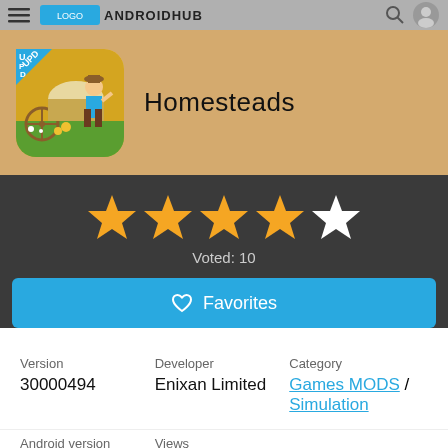ANDROIDHUB
[Figure (screenshot): App store listing hero section with game icon for Homesteads showing a farmer character with wagon on sandy background, with UPD badge in top-left corner of icon]
Homesteads
[Figure (infographic): Star rating display: 4 filled gold stars and 1 empty/white star]
Voted: 10
Favorites
| Version | Developer | Category |
| --- | --- | --- |
| 30000494 | Enixan Limited | Games MODS / Simulation |
| Android version | Views |  |
| --- | --- | --- |
| 5.0 | 613 |  |